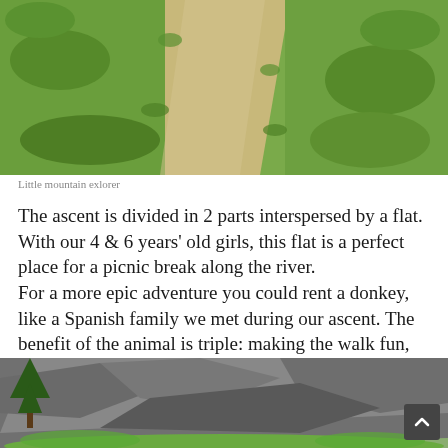[Figure (photo): Aerial view of a mountain path or trail running through green grass, seen from above. Sandy dirt path visible winding through lush green grass.]
Little mountain exlorer
The ascent is divided in 2 parts interspersed by a flat. With our 4 & 6 years' old girls, this flat is a perfect place for a picnic break along the river.
For a more epic adventure you could rent a donkey, like a Spanish family we met during our ascent. The benefit of the animal is triple: making the walk fun, reducing the weight of the backpack & carrying kids if needed.
[Figure (photo): Rocky mountain cliff face with large grey stone formations, green grass in foreground, conifer trees on the left side.]